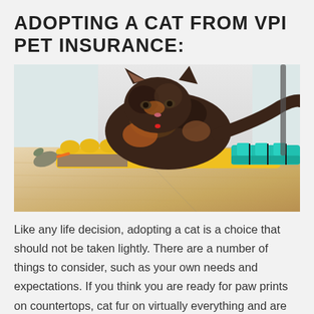ADOPTING A CAT FROM VPI PET INSURANCE:
[Figure (photo): A tortoiseshell cat crouching over a yellow and teal puzzle/treat toy on a wooden floor, with toy mice nearby.]
Like any life decision, adopting a cat is a choice that should not be taken lightly. There are a number of things to consider, such as your own needs and expectations. If you think you are ready for paw prints on countertops, cat fur on virtually everything and are ready to take on litter box duty, be sure to consider the